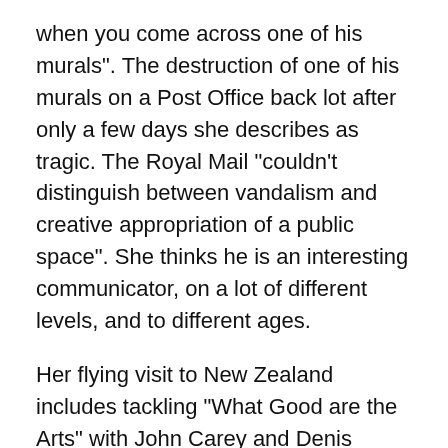when you come across one of his murals". The destruction of one of his murals on a Post Office back lot after only a few days she describes as tragic. The Royal Mail “couldn’t distinguish between vandalism and creative appropriation of a public space”. She thinks he is an interesting communicator, on a lot of different levels, and to different ages.
Her flying visit to New Zealand includes tackling “What Good are the Arts” with John Carey and Denis Dutton and going to a group show opening which includes artist Fiona Jack who appears in her book in the chapter about The Crit session. She is also visiting a couple of major collectors in their homes to see the works they have.
Her official website has a great list of articles if you want to find out more about contemporary art. If you are lucky